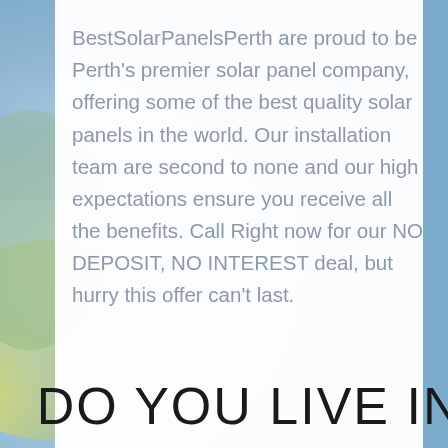BestSolarPanelsPerth are proud to be Perth's premier solar panel company, offering some of the best quality solar panels in the world. Our installation team are second to none and our high expectations ensure you receive all the benefits. Call Right now for our NO DEPOSIT, NO INTEREST deal, but hurry this offer can't last.
DO YOU LIVE IN